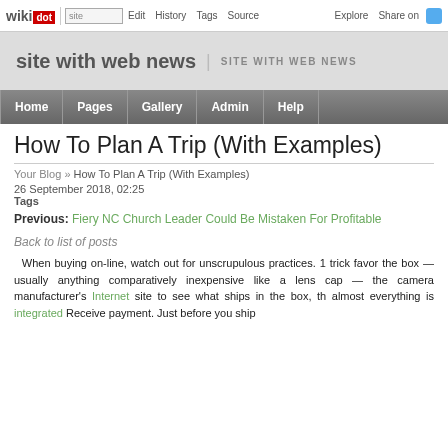wikidot | site | Edit | History | Tags | Source | Explore | Share on Twitter
site with web news | SITE WITH WEB NEWS
Home | Pages | Gallery | Admin | Help
How To Plan A Trip (With Examples)
Your Blog » How To Plan A Trip (With Examples)
26 September 2018, 02:25
Tags
Previous: Fiery NC Church Leader Could Be Mistaken For Profitable
Back to list of posts
When buying on-line, watch out for unscrupulous practices. 1 trick favored the box — usually anything comparatively inexpensive like a lens cap — the camera manufacturer's Internet site to see what ships in the box, the almost everything is integrated Receive payment. Just before you ship